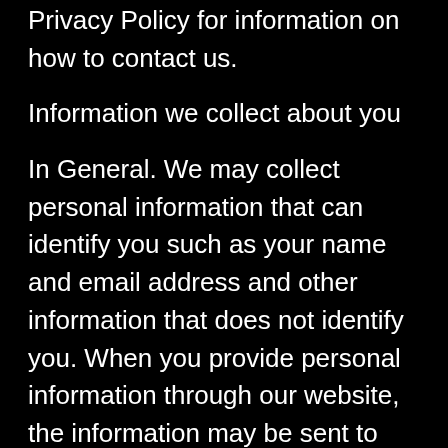Privacy Policy for information on how to contact us.
Information we collect about you
In General. We may collect personal information that can identify you such as your name and email address and other information that does not identify you. When you provide personal information through our website, the information may be sent to servers located in the United States and other countries around the world.
Information you provide. We may collect and